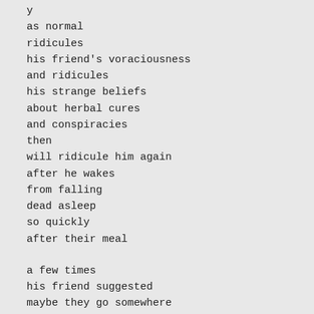y
as normal
ridicules
his friend's voraciousness
and ridicules
his strange beliefs
about herbal cures
and conspiracies
then
will ridicule him again
after he wakes
from falling
dead asleep
so quickly
after their meal

a few times
his friend suggested
maybe they go somewhere
(continues)